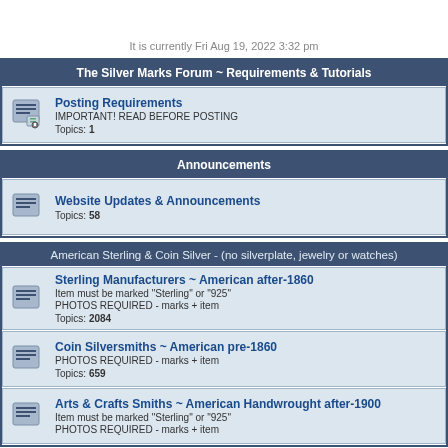It is currently Fri Aug 19, 2022 3:32 pm
The Silver Marks Forum ~ Requirements & Tutorials
Posting Requirements
IMPORTANT! READ BEFORE POSTING
Topics: 1
Announcements
Website Updates & Announcements
Topics: 58
American Sterling & Coin Silver - (no silverplate, jewelry or watches)
Sterling Manufacturers ~ American after-1860
Item must be marked "Sterling" or "925"
PHOTOS REQUIRED - marks + item
Topics: 2084
Coin Silversmiths ~ American pre-1860
PHOTOS REQUIRED - marks + item
Topics: 659
Arts & Crafts Smiths ~ American Handwrought after-1900
Item must be marked "Sterling" or "925"
PHOTOS REQUIRED - marks + item